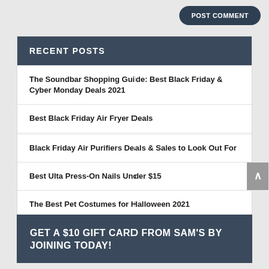POST COMMENT
RECENT POSTS
The Soundbar Shopping Guide: Best Black Friday & Cyber Monday Deals 2021
Best Black Friday Air Fryer Deals
Black Friday Air Purifiers Deals & Sales to Look Out For
Best Ulta Press-On Nails Under $15
The Best Pet Costumes for Halloween 2021
GET A $10 GIFT CARD FROM SAM'S BY JOINING TODAY!